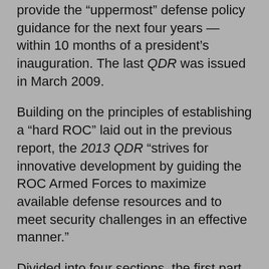provide the "uppermost" defense policy guidance for the next four years — within 10 months of a president's inauguration. The last QDR was issued in March 2009.
Building on the principles of establishing a "hard ROC" laid out in the previous report, the 2013 QDR "strives for innovative development by guiding the ROC Armed Forces to maximize available defense resources and to meet security challenges in an effective manner."
Divided into four sections, the first part, "Security Environment and National Defense Challenges," lists the principal traditional security challenges facing the nation. With regards to China, the report says its rise is the "primary factor" for change in the Asia-Pacific security environment, adding that Beijing's "core objective" is to "sustain economic development and enhance comprehensive national power."
"In the foreseeable future, Mainland China's political and military power will continue to grow, gradually changing the Asia-Pacific balance of power, geo-strategic situation and regional security," the report says. "Mainland China's military modernization has progressed rapidly. Its force projection